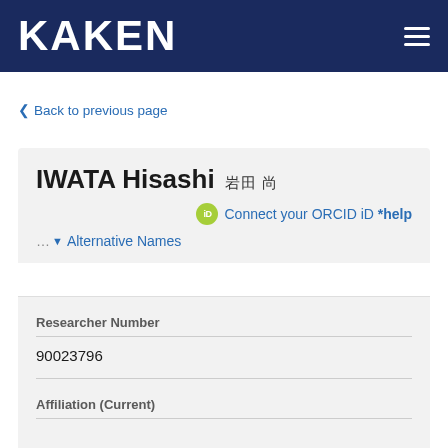KAKEN
< Back to previous page
IWATA Hisashi 岩田 尚
Connect your ORCID iD *help
... ▾ Alternative Names
Researcher Number
90023796
Affiliation (Current)